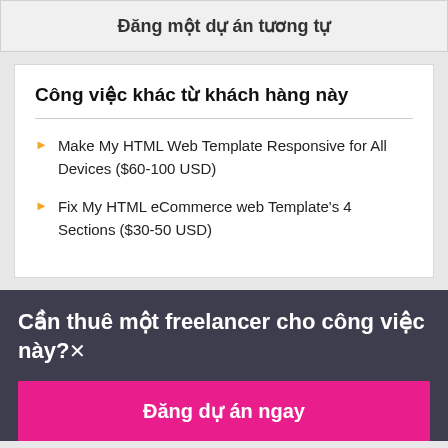Đăng một dự án tương tự
Công việc khác từ khách hàng này
Make My HTML Web Template Responsive for All Devices ($60-100 USD)
Fix My HTML eCommerce web Template's 4 Sections ($30-50 USD)
Cần thuê một freelancer cho công việc này? ×
Đăng dự án ngay